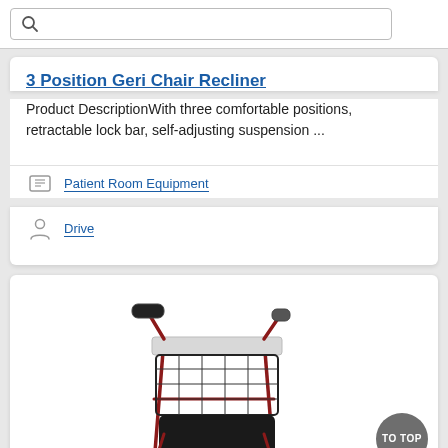[Figure (screenshot): Search bar with magnifying glass icon]
3 Position Geri Chair Recliner
Product DescriptionWith three comfortable positions, retractable lock bar, self-adjusting suspension ...
Patient Room Equipment
Drive
[Figure (photo): Photo of a rollator walker with basket and tray, red frame, small wheels, with brake handles]